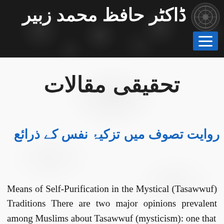ڈاکٹر حافظ محمد زبیر
تحقیقی مقالات
روایت تصوف میں تزکیۂ نفس کے ذرائع
Means of Self-Purification in the Mystical (Tasawwuf) Traditions There are two major opinions prevalent among Muslims about Tasawwuf (mysticism): one that